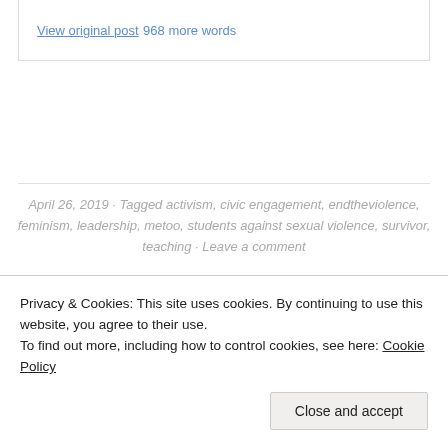View original post 968 more words
April 26, 2019 · Tagged activism, civic engagement, endtheviolence, feminism, leadership, metoo, students against sexual violence, survivor, teaching · Leave a comment
[Figure (illustration): Dark upward-pointing triangle/arrow shape]
Privacy & Cookies: This site uses cookies. By continuing to use this website, you agree to their use.
To find out more, including how to control cookies, see here: Cookie Policy
Close and accept